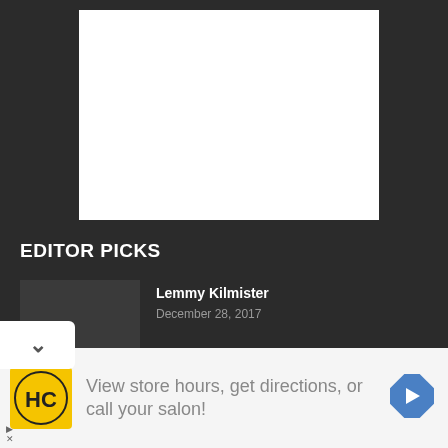[Figure (other): White rectangular image placeholder on dark background at top of page]
EDITOR PICKS
Lemmy Kilmister
December 28, 2017
What Type of Motorcycle Helmet Do You Prefer?
October 17, 2017
[Figure (other): Advertisement banner: HC logo (yellow background, black circular H and C letters), text 'View store hours, get directions, or call your salon!', blue navigation arrow icon. Ad controls (triangle and X) at bottom left.]